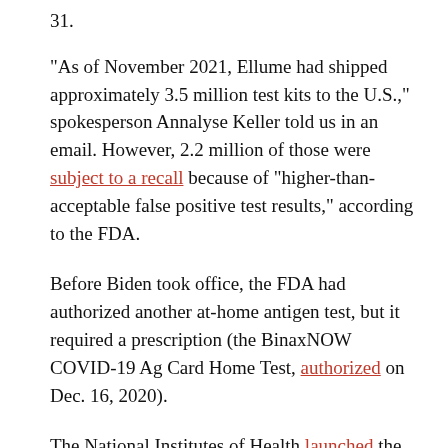31.
“As of November 2021, Ellume had shipped approximately 3.5 million test kits to the U.S.,” spokesperson Annalyse Keller told us in an email. However, 2.2 million of those were subject to a recall because of “higher-than-acceptable false positive test results,” according to the FDA.
Before Biden took office, the FDA had authorized another at-home antigen test, but it required a prescription (the BinaxNOW COVID-19 Ag Card Home Test, authorized on Dec. 16, 2020).
The National Institutes of Health launched the Rapid Acceleration of Diagnostics (RADx) initiative in April